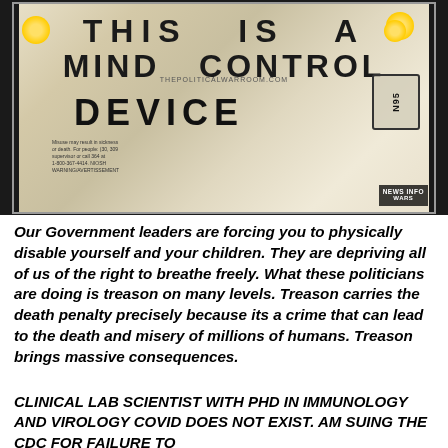[Figure (photo): A photo of an N95 respirator mask with text printed on it reading 'THIS IS A MIND CONTROL DEVICE' along with a website URL 'THEPOLITICALWARROOM.COM' and small print warning text. A 'NEWS INFO WARS' watermark appears in the bottom right corner.]
Our Government leaders are forcing you to physically disable yourself and your children. They are depriving all of us of the right to breathe freely. What these politicians are doing is treason on many levels. Treason carries the death penalty precisely because its a crime that can lead to the death and misery of millions of humans. Treason brings massive consequences.
CLINICAL LAB SCIENTIST WITH PHD IN IMMUNOLOGY AND VIROLOGY COVID DOES NOT EXIST. AM SUING THE CDC FOR FAILURE TO...